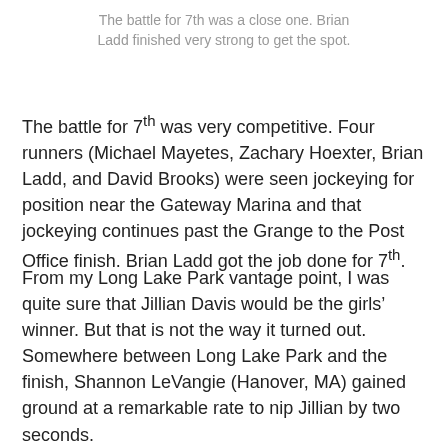The battle for 7th was a close one. Brian Ladd finished very strong to get the spot.
The battle for 7th was very competitive. Four runners (Michael Mayetes, Zachary Hoexter, Brian Ladd, and David Brooks) were seen jockeying for position near the Gateway Marina and that jockeying continues past the Grange to the Post Office finish. Brian Ladd got the job done for 7th.
From my Long Lake Park vantage point, I was quite sure that Jillian Davis would be the girls’ winner. But that is not the way it turned out. Somewhere between Long Lake Park and the finish, Shannon LeVangie (Hanover, MA) gained ground at a remarkable rate to nip Jillian by two seconds.